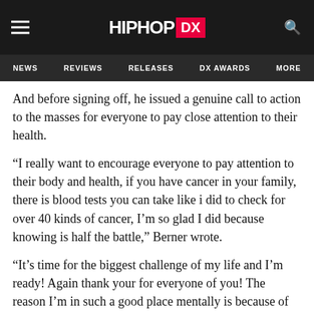HIPHOP DX — Navigation: NEWS, REVIEWS, RELEASES, DX AWARDS, MORE
And before signing off, he issued a genuine call to action to the masses for everyone to pay close attention to their health.
“I really want to encourage everyone to pay attention to their body and health, if you have cancer in your family, there is blood tests you can take like i did to check for over 40 kinds of cancer, I’m so glad I did because knowing is half the battle,” Berner wrote.
“It’s time for the biggest challenge of my life and I’m ready! Again thank your for everyone of you! The reason I’m in such a good place mentally is because of you! We built something so powerful, organic and genuine it still blows my mind. I’m extremely grateful to have such an